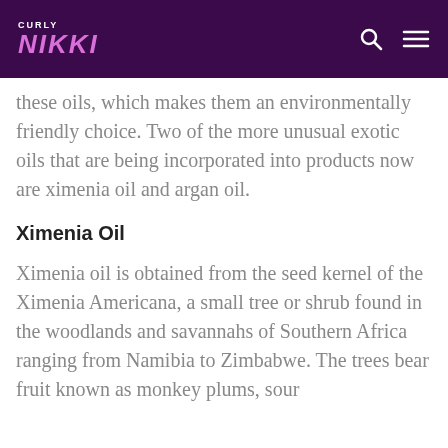CURLY NIKKI
these oils, which makes them an environmentally friendly choice. Two of the more unusual exotic oils that are being incorporated into products now are ximenia oil and argan oil.
Ximenia Oil
Ximenia oil is obtained from the seed kernel of the Ximenia Americana, a small tree or shrub found in the woodlands and savannahs of Southern Africa ranging from Namibia to Zimbabwe. The trees bear fruit known as monkey plums, sour